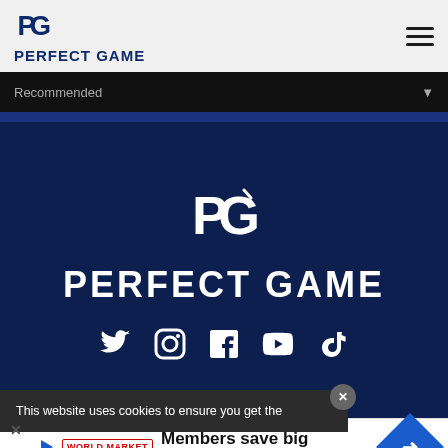PERFECT GAME
Recommended
[Figure (logo): Perfect Game PG logo white on dark navy background with PERFECT GAME text]
This website uses cookies to ensure you get the
Members save big World Market